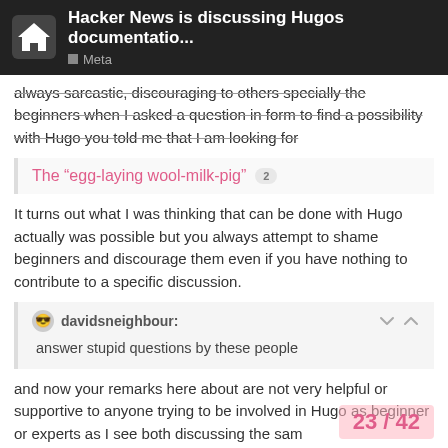Hacker News is discussing Hugos documentatio... | Meta
always sarcastic, discouraging to others specially the beginners when I asked a question in form to find a possibility with Hugo you told me that I am looking for
The “egg-laying wool-milk-pig” 2
It turns out what I was thinking that can be done with Hugo actually was possible but you always attempt to shame beginners and discourage them even if you have nothing to contribute to a specific discussion.
davidsneighbour:
answer stupid questions by these people
and now your remarks here about are not very helpful or supportive to anyone trying to be involved in Hugo as beginner or experts as I see both discussing the sam
23 / 42